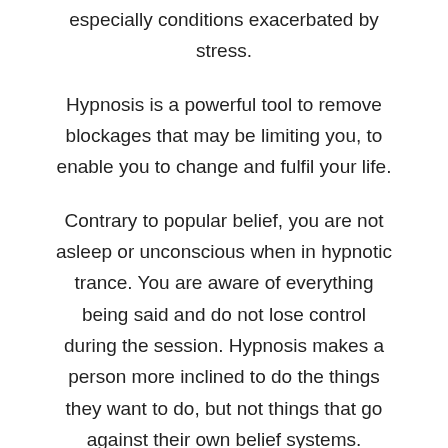especially conditions exacerbated by stress.
Hypnosis is a powerful tool to remove blockages that may be limiting you, to enable you to change and fulfil your life.
Contrary to popular belief, you are not asleep or unconscious when in hypnotic trance. You are aware of everything being said and do not lose control during the session. Hypnosis makes a person more inclined to do the things they want to do, but not things that go against their own belief systems.